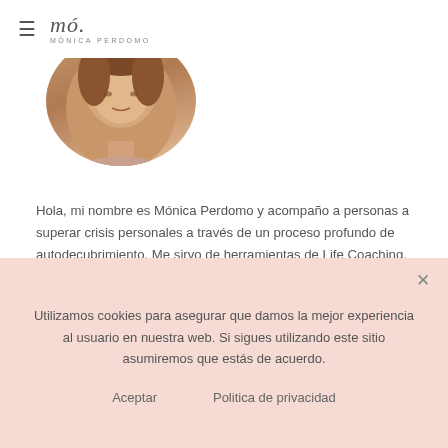≡ mó. MÓNICA PERDOMO
[Figure (photo): Circular profile photo of Mónica Perdomo, a woman with light skin and dark hair, cropped as a circle at the top of the page]
Hola, mi nombre es Mónica Perdomo y acompaño a personas a superar crisis personales a través de un proceso profundo de autodecubrimiento. Me sirvo de herramientas de Life Coaching, Mindfulness, Neurociencias, Psicología tranpersonal y sobre todo de mi propia experiencia de superación y reinvención personal con un diagnóstico de salud desfavorable desde los 12 años. Aprenderás conmigo que pararte a sentir lo que piensas cambiará tu vida!
LO MÁS LEÍDO
Utilizamos cookies para asegurar que damos la mejor experiencia al usuario en nuestra web. Si sigues utilizando este sitio asumiremos que estás de acuerdo.
Aceptar    Politica de privacidad